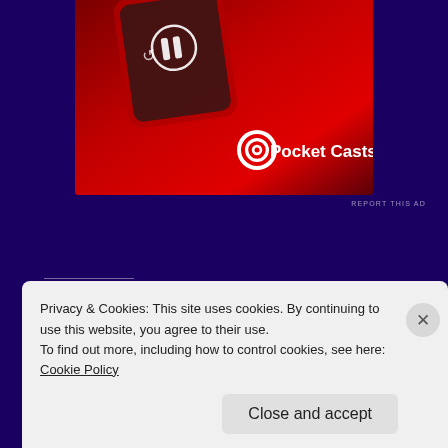[Figure (photo): Pocket Casts advertisement banner showing a red smartphone device and the Pocket Casts logo with text on a red gradient background]
REPORT THIS AD
Share this:
Twitter
Facebook
Loading...
Privacy & Cookies: This site uses cookies. By continuing to use this website, you agree to their use.
To find out more, including how to control cookies, see here: Cookie Policy
Close and accept